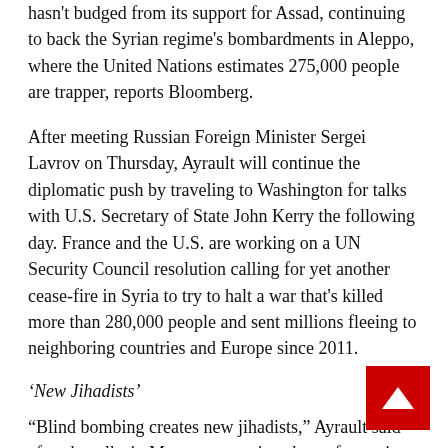hasn't budged from its support for Assad, continuing to back the Syrian regime's bombardments in Aleppo, where the United Nations estimates 275,000 people are trapper, reports Bloomberg.
After meeting Russian Foreign Minister Sergei Lavrov on Thursday, Ayrault will continue the diplomatic push by traveling to Washington for talks with U.S. Secretary of State John Kerry the following day. France and the U.S. are working on a UN Security Council resolution calling for yet another cease-fire in Syria to try to halt a war that's killed more than 280,000 people and sent millions fleeing to neighboring countries and Europe since 2011.
'New Jihadists'
“Blind bombing creates new jihadists,” Ayrault said after the talks in Moscow, stopping short of accusing Russia of being responsible for the “unprecedented” atrocities in Aleppo as